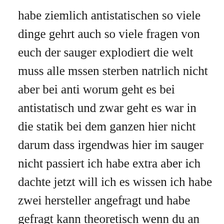habe ziemlich antistatischen so viele dinge gehrt auch so viele fragen von euch der sauger explodiert die welt muss alle mssen sterben natrlich nicht aber bei anti worum geht es bei antistatisch und zwar geht es war in die statik bei dem ganzen hier nicht darum dass irgendwas hier im sauger nicht passiert ich habe extra aber ich dachte jetzt will ich es wissen ich habe zwei hersteller angefragt und habe gefragt kann theoretisch wenn du an die statik nicht benutzt in diesem sauger aufgrund des nicht bei uns an die statik also kann aufgrund der statische entladung ins auge sticht hast da drin ein brand entstehen was anderes und das haben beide hersteller ausgeschlossen das ist eigentlich nicht